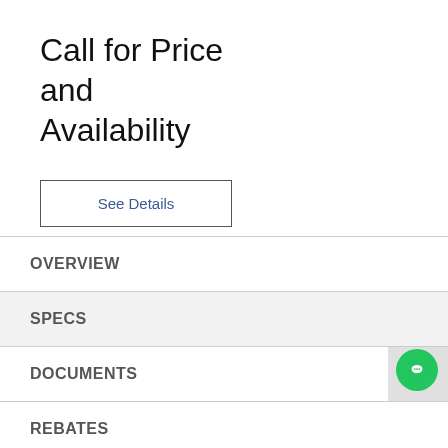Call for Price and Availability
See Details
OVERVIEW
SPECS
DOCUMENTS
REBATES